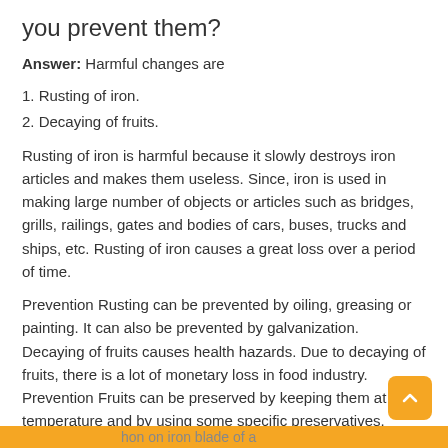you prevent them?
Answer: Harmful changes are
1. Rusting of iron.
2. Decaying of fruits.
Rusting of iron is harmful because it slowly destroys iron articles and makes them useless. Since, iron is used in making large number of objects or articles such as bridges, grills, railings, gates and bodies of cars, buses, trucks and ships, etc. Rusting of iron causes a great loss over a period of time.
Prevention Rusting can be prevented by oiling, greasing or painting. It can also be prevented by galvanization.
Decaying of fruits causes health hazards. Due to decaying of fruits, there is a lot of monetary loss in food industry.
Prevention Fruits can be preserved by keeping them at low temperature and by using some specific preservatives.
...hon on iron blade of a